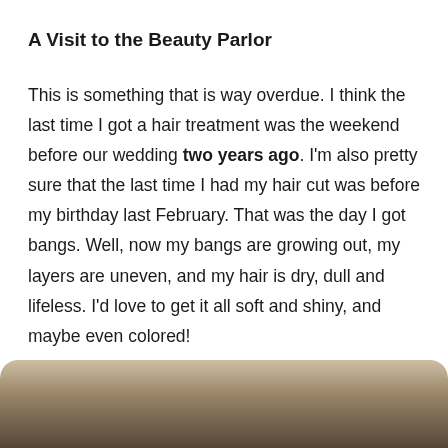A Visit to the Beauty Parlor
This is something that is way overdue. I think the last time I got a hair treatment was the weekend before our wedding two years ago. I'm also pretty sure that the last time I had my hair cut was before my birthday last February. That was the day I got bangs. Well, now my bangs are growing out, my layers are uneven, and my hair is dry, dull and lifeless. I'd love to get it all soft and shiny, and maybe even colored!
[Figure (photo): Partially visible photo at the bottom of the page showing a person, with a rounded top edge and sepia/dark tones]